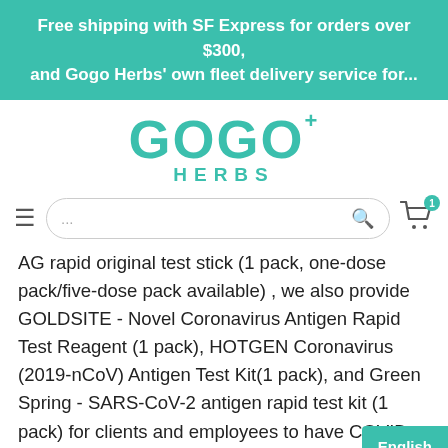Free shipping with SF Express for orders over $300, and Gogo Herbs' own fleet delivery service for...
[Figure (logo): GOGO+ HERBS logo in teal/green color]
AG rapid original test stick (1 pack, one-dose pack/five-dose pack available) , we also provide GOLDSITE - Novel Coronavirus Antigen Rapid Test Reagent (1 pack), HOTGEN Coronavirus (2019-nCoV) Antigen Test Kit(1 pack), and Green Spring - SARS-CoV-2 antigen rapid test kit (1 pack) for clients and employees to have COVID-19 tests soon, preventing the further spread of the coronavirus. For bulk orders of rapid antig...
English